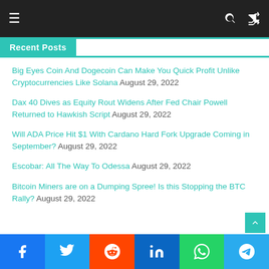Navigation bar with hamburger menu, search icon, and shuffle icon
Recent Posts
Big Eyes Coin And Dogecoin Can Make You Quick Profit Unlike Cryptocurrencies Like Solana August 29, 2022
Dax 40 Dives as Equity Rout Widens After Fed Chair Powell Returned to Hawkish Script August 29, 2022
Will ADA Price Hit $1 With Cardano Hard Fork Upgrade Coming in September? August 29, 2022
Escobar: All The Way To Odessa August 29, 2022
Bitcoin Miners are on a Dumping Spree! Is this Stopping the BTC Rally? August 29, 2022
Social share bar: Facebook, Twitter, Reddit, LinkedIn, WhatsApp, Telegram